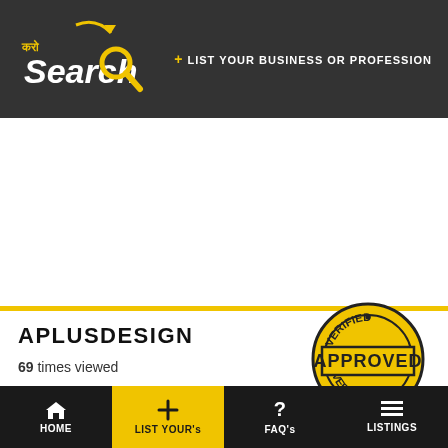कaro Search — + LIST YOUR BUSINESS OR PROFESSION
APLUSDESIGN
69 times viewed
[Figure (illustration): Star rating: 1 filled star out of 5, with an info icon]
[Figure (logo): Verified Approved badge — circular stamp with VERIFIED at top and bottom, APPROVED in bold center text, yellow and black colors]
HOME | LIST YOUR's | FAQ's | LISTINGS